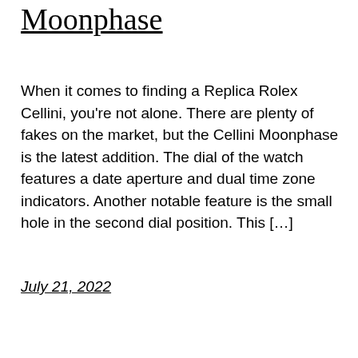Moonphase
When it comes to finding a Replica Rolex Cellini, you're not alone. There are plenty of fakes on the market, but the Cellini Moonphase is the latest addition. The dial of the watch features a date aperture and dual time zone indicators. Another notable feature is the small hole in the second dial position. This […]
July 21, 2022